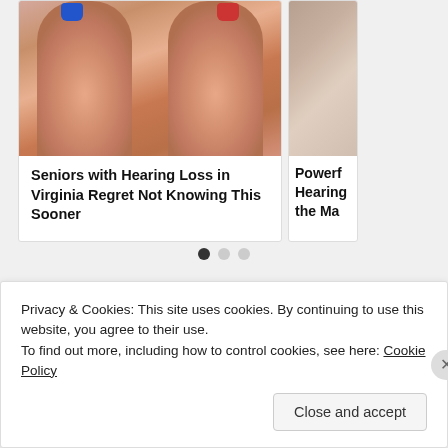[Figure (photo): Two fingers holding small hearing aids — left finger holds a blue one, right finger holds a red one — card thumbnail image]
Seniors with Hearing Loss in Virginia Regret Not Knowing This Sooner
[Figure (photo): Partial image of a second card showing a room interior — partially cropped on the right side]
Powerf Hearing the Ma
• • •
Tweet  More
Share this:
+ Like
Privacy & Cookies: This site uses cookies. By continuing to use this website, you agree to their use.
To find out more, including how to control cookies, see here: Cookie Policy
Close and accept